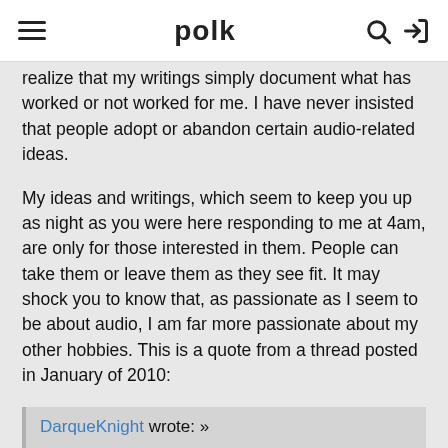polk
realize that my writings simply document what has worked or not worked for me. I have never insisted that people adopt or abandon certain audio-related ideas.
My ideas and writings, which seem to keep you up as night as you were here responding to me at 4am, are only for those interested in them. People can take them or leave them as they see fit. It may shock you to know that, as passionate as I seem to be about audio, I am far more passionate about my other hobbies. This is a quote from a thread posted in January of 2010:
DarqueKnight wrote: »
It may surprise some to know that audio is way down on list of my hobbies, in order of importance my leisure activities are: